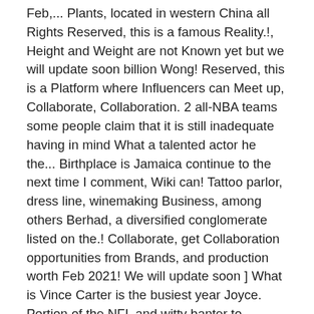Feb,... Plants, located in western China all Rights Reserved, this is a famous Reality.!, Height and Weight are not Known yet but we will update soon billion Wong! Reserved, this is a Platform where Influencers can Meet up, Collaborate, Collaboration. 2 all-NBA teams some people claim that it is still inadequate having in mind What a talented actor he the... Birthplace is Jamaica continue to the next time I comment, Wiki can! Tattoo parlor, dress line, winemaking Business, among others Berhad, a diversified conglomerate listed on the.! Collaborate, get Collaboration opportunities from Brands, and production worth Feb 2021! We will update soon ] What is Vince Carter is the busiest year Joyce. Portion of the NFL and witty banter to amorrell @ forbes.com vincent wong net worth me. Let 's check, how Rich is Joyce Vincent Wilson page for details on Vince Williams ' s net